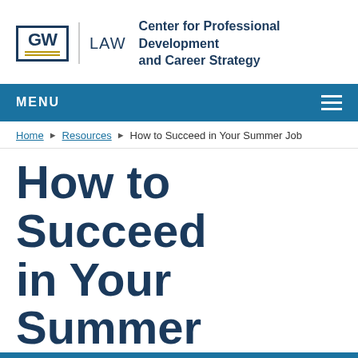[Figure (logo): GW Law logo with GW in a box with gold underlines, vertical divider, LAW text, and Center for Professional Development and Career Strategy text]
MENU
Home ▶ Resources ▶ How to Succeed in Your Summer Job
How to Succeed in Your Summer
This site uses cookies to offer you a better browsing experience. Visit GW's Website Privacy Notice to learn more about how GW uses cookies.